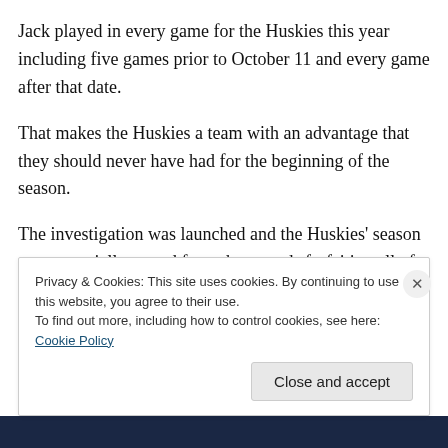Jack played in every game for the Huskies this year including five games prior to October 11 and every game after that date.
That makes the Huskies a team with an advantage that they should never have had for the beginning of the season.
The investigation was launched and the Huskies' season was essentially erased from the records forfeiting all of their wins.
Privacy & Cookies: This site uses cookies. By continuing to use this website, you agree to their use.
To find out more, including how to control cookies, see here: Cookie Policy